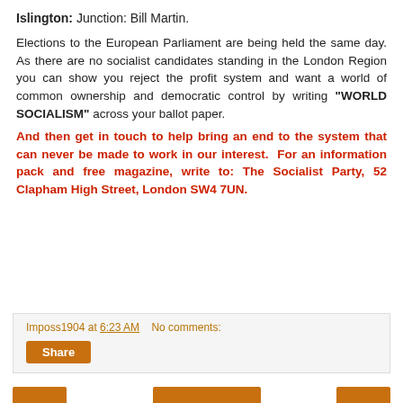Islington: Junction: Bill Martin.
Elections to the European Parliament are being held the same day. As there are no socialist candidates standing in the London Region you can show you reject the profit system and want a world of common ownership and democratic control by writing “WORLD SOCIALISM” across your ballot paper.
And then get in touch to help bring an end to the system that can never be made to work in our interest. For an information pack and free magazine, write to: The Socialist Party, 52 Clapham High Street, London SW4 7UN.
Imposs1904 at 6:23 AM   No comments: